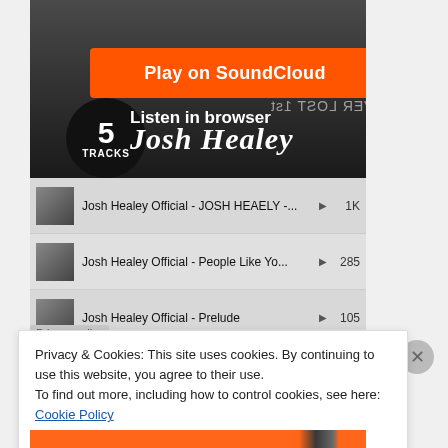[Figure (screenshot): SoundCloud embedded player screenshot showing Josh Healey album with 5 tracks. Orange 'Play on SoundCloud' button at top, black circle badge showing '5 TRACKS', 'Listen in browser' text, 'Josh Healey' artist name. Track listing below with 4 visible tracks: Josh Healey Official - JOSH HEAELY -... (1K plays), Josh Healey Official - People Like Yo... (285 plays), Josh Healey Official - Prelude (105 plays), Josh Healey Official - City Of The Sai... (164 plays). Cookie consent banner overlay at bottom reading 'Privacy & Cookies: This site uses cookies. By continuing to use this website, you agree to their use. To find out more, including how to control cookies, see here: Cookie Policy' with 'Close and accept' button.]